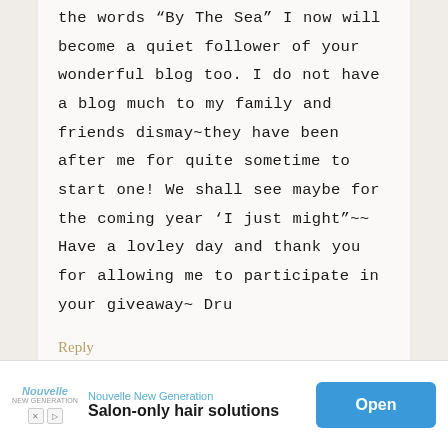the words “By The Sea” I now will become a quiet follower of your wonderful blog too. I do not have a blog much to my family and friends dismay~they have been after me for quite sometime to start one! We shall see maybe for the coming year ‘I just might”~~ Have a lovley day and thank you for allowing me to participate in your giveaway~ Dru
Reply
[Figure (other): Advertisement banner for Nouvelle New Generation - Salon-only hair solutions with an Open button]